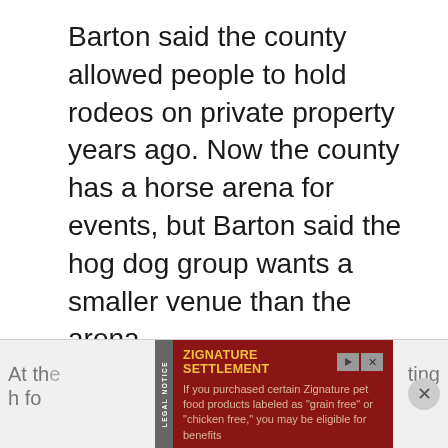Barton said the county allowed people to hold rodeos on private property years ago. Now the county has a horse arena for events, but Barton said the hog dog group wants a smaller venue than the arena.
[Figure (other): Advertisement banner at the bottom of the page. Dark red background with yellow title 'ZIGNATURE SETTLEMENT' and body text: 'If you purchased certain Zignature pet food products labeled as "grain free" or "chicken free," you may be eligible for benefits'. Includes play and close buttons. A vertical gray sidebar on the left reads 'LEGAL NOTICE'.]